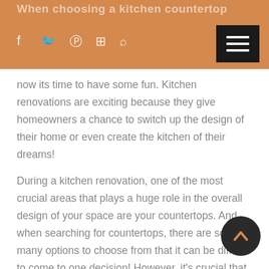When choosing a kitchen countertop
[Figure (infographic): Social media icons bar: Facebook, Twitter, Pinterest, Instagram, Search on orange/tan background with dark hamburger menu button top right]
now its time to have some fun. Kitchen renovations are exciting because they give homeowners a chance to switch up the design of their home or even create the kitchen of their dreams!
During a kitchen renovation, one of the most crucial areas that plays a huge role in the overall design of your space are your countertops. And when searching for countertops, there are so many options to choose from that it can be difficult to come to one decision! However, it's crucial that you choose the right material, color and finish! Kitchen countertops are highly noticeable, not only because of the space they occupy but because they are continuously in use. They also need to be able to take a significant amount of pressure.